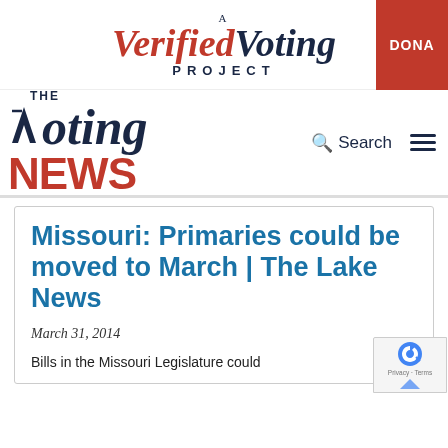[Figure (logo): A Verified Voting Project logo with red italic 'Verified' and dark blue italic 'Voting' text, plus a red DONATE button on the right]
[Figure (logo): The Voting News logo with dark blue 'THE', large italic 'Voting' and red bold 'NEWS' text, plus Search icon and hamburger menu]
Missouri: Primaries could be moved to March | The Lake News
March 31, 2014
Bills in the Missouri Legislature could